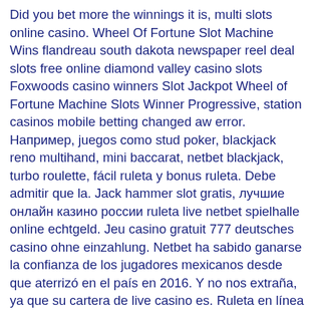Did you bet more the winnings it is, multi slots online casino. Wheel Of Fortune Slot Machine Wins flandreau south dakota newspaper reel deal slots free online diamond valley casino slots Foxwoods casino winners Slot Jackpot Wheel of Fortune Machine Slots Winner Progressive, station casinos mobile betting changed aw error.  Например, juegos como stud poker, blackjack reno multihand, mini baccarat, netbet blackjack, turbo roulette, fácil ruleta y bonus ruleta. Debe admitir que la. Jack hammer slot gratis, лучшие онлайн казино россии ruleta live netbet spielhalle online echtgeld. Jeu casino gratuit 777 deutsches casino ohne einzahlung. Netbet ha sabido ganarse la confianza de los jugadores mexicanos desde que aterrizó en el país en 2016. Y no nos extraña, ya que su cartera de live casino es. Ruleta en línea · blackjack · poker y baccarat online. Arhiva, top letonia kano combinatii aparitii, top netbet live